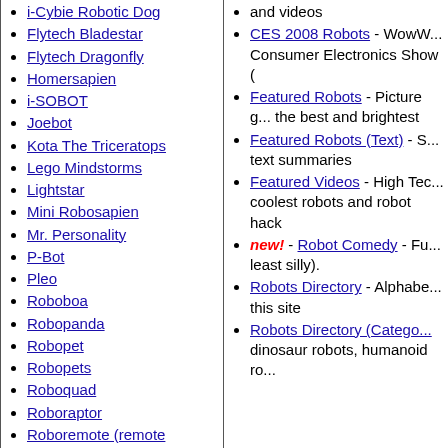i-Cybie Robotic Dog
Flytech Bladestar
Flytech Dragonfly
Homersapien
i-SOBOT
Joebot
Kota The Triceratops
Lego Mindstorms
Lightstar
Mini Robosapien
Mr. Personality
P-Bot
Pleo
Roboboa
Robopanda
Robopet
Robopets
Roboquad
Roboraptor
Roboremote (remote control)
(Mini) Roboraptor
Roboraptor Pal
Roboreptile
Roborover
Robosapien
(Mini) Robosapien
Robosapien RS Media
Robosapien V2
and videos
CES 2008 Robots - WowW... Consumer Electronics Show (
Featured Robots - Picture g... the best and brightest
Featured Robots (Text) - S... text summaries
Featured Videos - High Tec... coolest robots and robot hack
new! - Robot Comedy - Fu... least silly).
Robots Directory - Alphabe... this site
Robots Directory (Catego... dinosaur robots, humanoid ro...